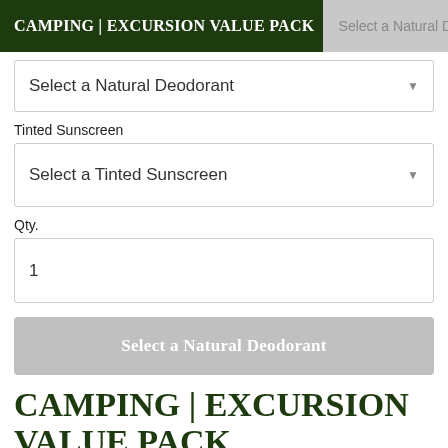CAMPING | EXCURSION VALUE PACK  Select a Natural Deodorant
Select a Natural Deodorant
Tinted Sunscreen
Select a Tinted Sunscreen
Qty.
1
Select a Natural Deodorant
CAMPING | EXCURSION VALUE PACK
Are you going camping this summer? This value pack is